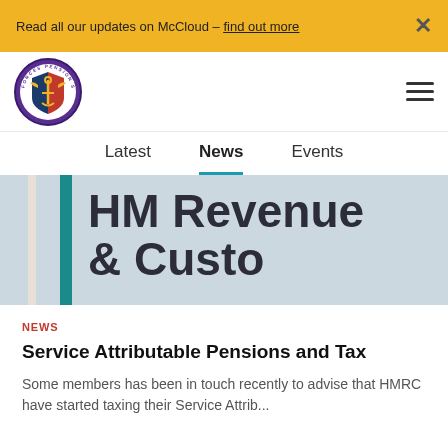Read all our updates on McCloud – find out more ×
[Figure (logo): Forces Pension Society circular logo with navy/red shield and anchor, purple border]
Latest | News | Events navigation tabs
[Figure (photo): Close-up photo of HM Revenue & Customs text on official document/letterhead]
NEWS
Service Attributable Pensions and Tax
Some members has been in touch recently to advise that HMRC have started taxing their Service Attrib...